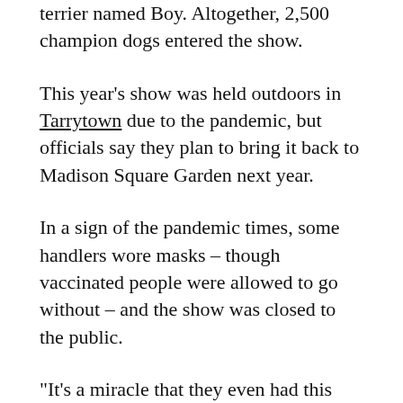terrier named Boy. Altogether, 2,500 champion dogs entered the show.
This year's show was held outdoors in Tarrytown due to the pandemic, but officials say they plan to bring it back to Madison Square Garden next year.
In a sign of the pandemic times, some handlers wore masks – though vaccinated people were allowed to go without – and the show was closed to the public.
"It's a miracle that they even had this show," Fitzpatrick said.
Striker went into the show as the top-ranked U.S. dog, with more than 40 best in show wins since January 2020. And Bourbon had also won the AKC National Championship.